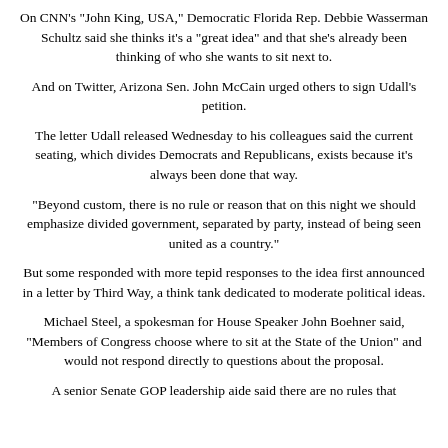On CNN's "John King, USA," Democratic Florida Rep. Debbie Wasserman Schultz said she thinks it's a "great idea" and that she's already been thinking of who she wants to sit next to.
And on Twitter, Arizona Sen. John McCain urged others to sign Udall's petition.
The letter Udall released Wednesday to his colleagues said the current seating, which divides Democrats and Republicans, exists because it's always been done that way.
"Beyond custom, there is no rule or reason that on this night we should emphasize divided government, separated by party, instead of being seen united as a country."
But some responded with more tepid responses to the idea first announced in a letter by Third Way, a think tank dedicated to moderate political ideas.
Michael Steel, a spokesman for House Speaker John Boehner said, "Members of Congress choose where to sit at the State of the Union" and would not respond directly to questions about the proposal.
A senior Senate GOP leadership aide said there are no rules that